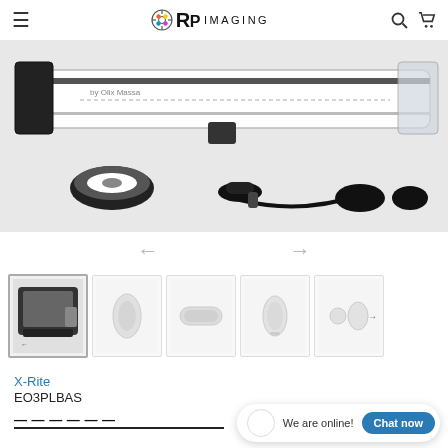RP Imaging
[Figure (photo): Main product photo showing X-Rite scanning equipment laid out flat — a long white bar/strip scanner, black wireless mouse/controller, black fob/adapter, strap, and rubber feet on a light background]
[Figure (photo): Navigation left arrow (grey)]
[Figure (photo): Navigation right arrow (grey)]
[Figure (photo): Thumbnail 1: front view of device in holder (active)]
[Figure (photo): Thumbnail 2: small oval white component]
[Figure (photo): Thumbnail 3: cylindrical white component]
[Figure (photo): Thumbnail 4: white oblong component]
[Figure (photo): Thumbnail 5: small round and oval white parts with right arrow]
X-Rite
EO3PLBAS
We are online!
Chat now